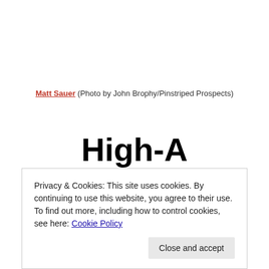Matt Sauer (Photo by John Brophy/Pinstriped Prospects)
High-A
Privacy & Cookies: This site uses cookies. By continuing to use this website, you agree to their use.
To find out more, including how to control cookies, see here: Cookie Policy
Close and accept